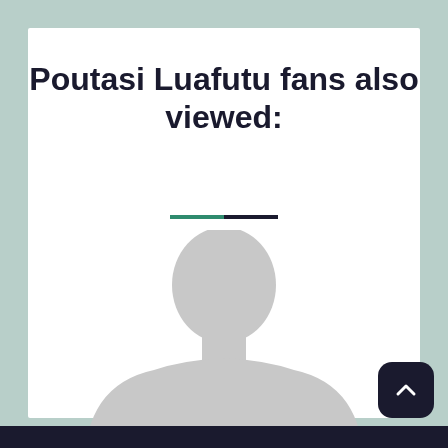Poutasi Luafutu fans also viewed:
[Figure (illustration): Generic placeholder silhouette of a person (grey, no face details) on a white background]
[Figure (other): Back to top chevron button, dark rounded square, white up-arrow icon]